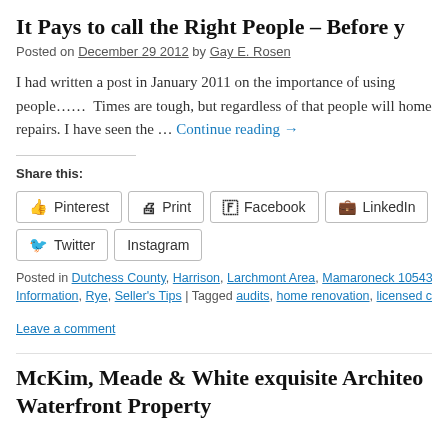It Pays to call the Right People – Before y
Posted on December 29 2012 by Gay E. Rosen
I had written a post in January 2011 on the importance of using people……  Times are tough, but regardless of that people will home repairs. I have seen the … Continue reading →
Share this:
Pinterest  Print  Facebook  LinkedIn  Twitter  Instagram
Posted in Dutchess County, Harrison, Larchmont Area, Mamaroneck 10543 A Information, Rye, Seller's Tips | Tagged audits, home renovation, licensed co Leave a comment
McKim, Meade & White exquisite Architeo Waterfront Property